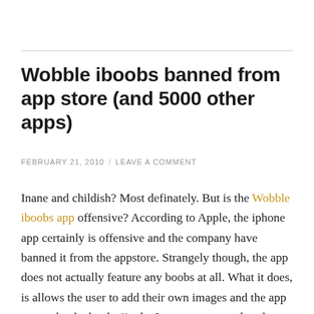Wobble iboobs banned from app store (and 5000 other apps)
FEBRUARY 21, 2010 / LEAVE A COMMENT
Inane and childish? Most definately. But is the Wobble iboobs app offensive? According to Apple, the iphone app certainly is offensive and the company have banned it from the appstore. Strangely though, the app does not actually feature any boobs at all. What it does, is allows the user to add their own images and the app can make the boobs jiggle. It seems to appeal to the teenager in men, and in that capacity the app is inane, however following on into it has been banned from the